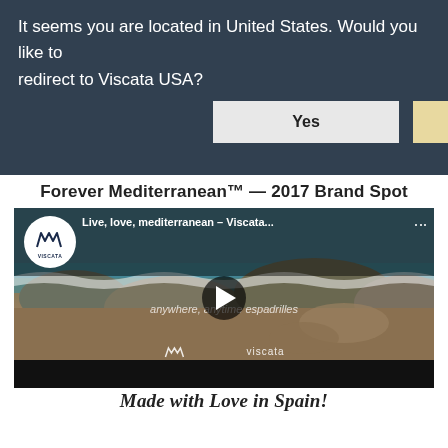It seems you are located in United States. Would you like to redirect to Viscata USA?
Yes
No
Forever Mediterranean™ — 2017 Brand Spot
[Figure (screenshot): YouTube video thumbnail showing Viscata brand video titled 'Live, love, mediterranean – Viscata...' with a play button overlay. The video shows a rocky beach scene with espadrille shoes. Text overlay reads 'anywhere, anytime espadrilles' and the Viscata logo watermark is visible.]
Made with Love in Spain!